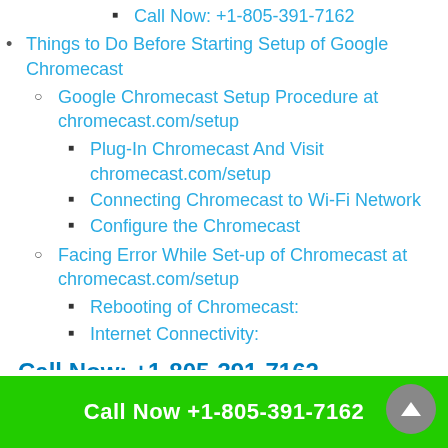Call Now: +1-805-391-7162
Things to Do Before Starting Setup of Google Chromecast
Google Chromecast Setup Procedure at chromecast.com/setup
Plug-In Chromecast And Visit chromecast.com/setup
Connecting Chromecast to Wi-Fi Network
Configure the Chromecast
Facing Error While Set-up of Chromecast at chromecast.com/setup
Rebooting of Chromecast:
Internet Connectivity:
Call Now: +1-805-391-7162
Google Chromecast is an outstanding device that people…
Call Now +1-805-391-7162